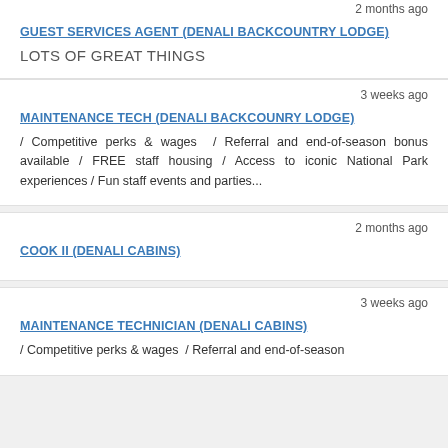2 months ago
GUEST SERVICES AGENT (DENALI BACKCOUNTRY LODGE)
LOTS OF GREAT THINGS
3 weeks ago
MAINTENANCE TECH (DENALI BACKCOUNRY LODGE)
/ Competitive perks & wages / Referral and end-of-season bonus available / FREE staff housing / Access to iconic National Park experiences / Fun staff events and parties...
2 months ago
COOK II (DENALI CABINS)
3 weeks ago
MAINTENANCE TECHNICIAN (DENALI CABINS)
/ Competitive perks & wages / Referral and end-of-season